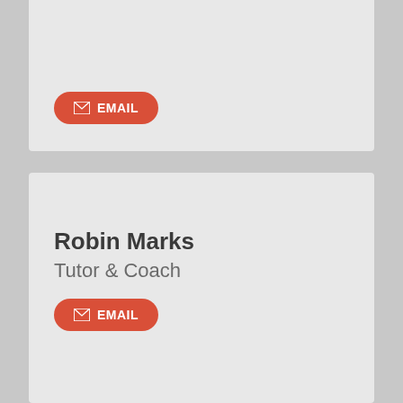[Figure (screenshot): Top card with red EMAIL button on light gray background]
Robin Marks
Tutor & Coach
[Figure (screenshot): Red EMAIL button with envelope icon]